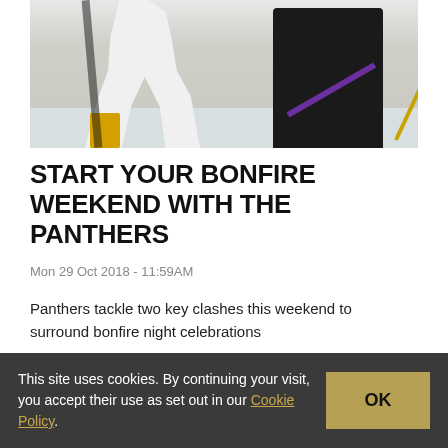[Figure (photo): Two ice hockey players in action — one in white/yellow/black uniform (Panthers) and one in black/purple uniform, competing on the ice]
START YOUR BONFIRE WEEKEND WITH THE PANTHERS
Mon 29 Oct 2018 - 11:59AM
Panthers tackle two key clashes this weekend to surround bonfire night celebrations
READ MORE
This site uses cookies. By continuing your visit, you accept their use as set out in our Cookie Policy.
OK